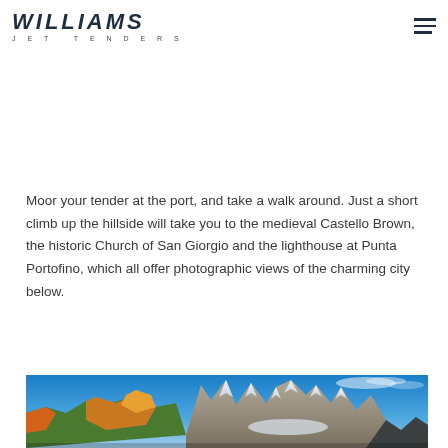WILLIAMS JET TENDERS
Moor your tender at the port, and take a walk around. Just a short climb up the hillside will take you to the medieval Castello Brown, the historic Church of San Giorgio and the lighthouse at Punta Portofino, which all offer photographic views of the charming city below.
[Figure (photo): Panoramic mountain landscape with jagged snow-capped rocky peaks, colorful autumn forest trees in the foreground, and blue sky with light clouds.]